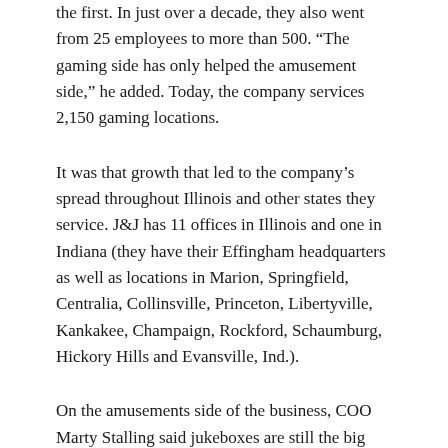the first. In just over a decade, they also went from 25 employees to more than 500. “The gaming side has only helped the amusement side,” he added. Today, the company services 2,150 gaming locations.
It was that growth that led to the company’s spread throughout Illinois and other states they service. J&J has 11 offices in Illinois and one in Indiana (they have their Effingham headquarters as well as locations in Marion, Springfield, Centralia, Collinsville, Princeton, Libertyville, Kankakee, Champaign, Rockford, Schaumburg, Hickory Hills and Evansville, Ind.).
On the amusements side of the business, COO Marty Stalling said jukeboxes are still the big earner, providing 60% of the total amusement revenue. They have 1,390 jukes on location throughout the Midwest.
Though music is their origin, the diversification they made over 90-plus years is still evident today. They have a strong dart board